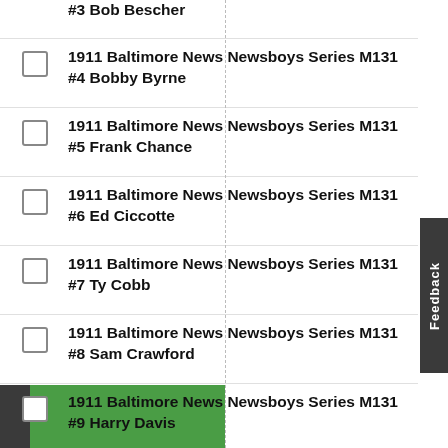1911 Baltimore News Newsboys Series M131 #3 Bob Bescher
1911 Baltimore News Newsboys Series M131 #4 Bobby Byrne
1911 Baltimore News Newsboys Series M131 #5 Frank Chance
1911 Baltimore News Newsboys Series M131 #6 Ed Ciccotte
1911 Baltimore News Newsboys Series M131 #7 Ty Cobb
1911 Baltimore News Newsboys Series M131 #8 Sam Crawford
1911 Baltimore News Newsboys Series M131 #9 Harry Davis
1911 Baltimore News Newsboys Series M131 #10 Art Devlin
1911 Baltimore News Newsboys Series M131